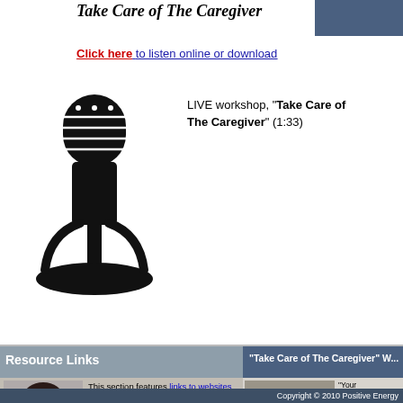Take Care of The Caregiver
Click here to listen online or download
[Figure (illustration): Black silhouette icon of a vintage microphone]
LIVE workshop, "Take Care of The Caregiver" (1:33)
Resource Links
"Take Care of The Caregiver" W...
[Figure (photo): Woman with dark hair looking sideways, against grey background]
This section features links to websites, books, and the media. These resources are for information and support. Check back frequently because this section will be updated continuously.
[Figure (photo): Two people at a desk/table in a meeting or presentation setting]
"Your organization, support group, or healthcare organization can book Dr. [name] for a presentation of 'Take Care of The Caregiver' for staff training or as a public event. Click to find out the details.
Copyright © 2010 Positive Energy